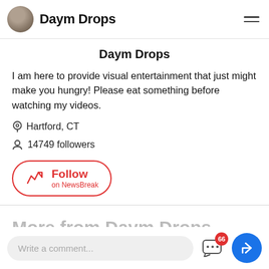Daym Drops
Daym Drops
I am here to provide visual entertainment that just might make you hungry! Please eat something before watching my videos.
Hartford, CT
14749 followers
Follow on NewsBreak
More from Daym Drops